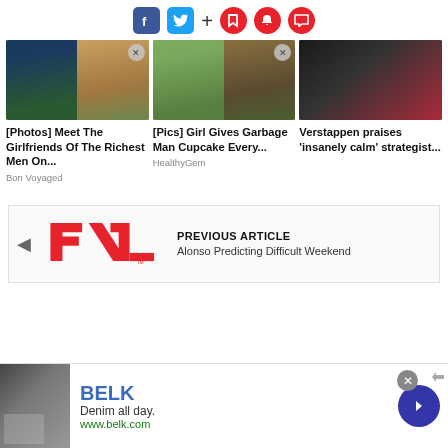[Figure (screenshot): Social media icons bar: Facebook, Twitter, plus sign, bookmark, bell, comment (red circles)]
[Figure (photo): Photo of a couple, man in suit and woman with sunglasses]
[Photos] Meet The Girlfriends Of The Richest Men On...
Bon Voyaged
[Figure (photo): Photo of a man with children outdoors]
[Pics] Girl Gives Garbage Man Cupcake Every...
HealthyGem
[Figure (photo): Photo of a woman in racing gear with headset]
Verstappen praises ‘insanely calm’ strategist...
[Figure (logo): Formula 1 logo (red F1 emblem)]
PREVIOUS ARTICLE
Alonso Predicting Difficult Weekend
[Figure (screenshot): Belk advertisement with denim clothing image, brand name BELK, tagline Denim all day, URL www.belk.com, and a blue arrow button]